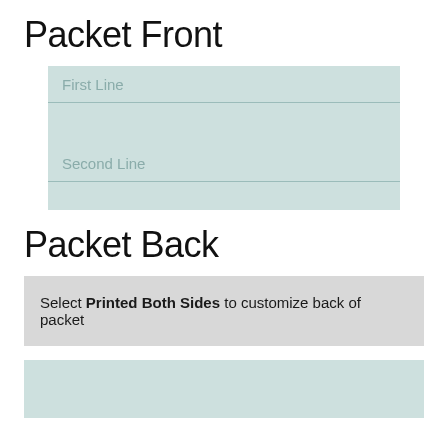Packet Front
[Figure (other): A teal/mint colored input form box with two labeled placeholder rows: 'First Line' and 'Second Line', separated by horizontal dividers, representing the front of a packet customization form]
Packet Back
Select Printed Both Sides to customize back of packet
[Figure (other): A teal/mint colored empty box representing the back of a packet, partially visible at the bottom of the page]